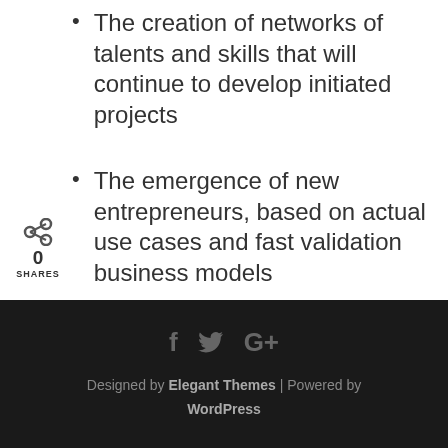The creation of networks of talents and skills that will continue to develop initiated projects
The emergence of new entrepreneurs, based on actual use cases and fast validation business models
[Figure (infographic): Social share widget showing share icon, count 0, SHARES label, and vertical stack of social media buttons: Twitter (blue), Facebook (dark blue), Google+ (red), LinkedIn (blue)]
[Figure (infographic): Inline social share bar with Facebook, Google+, LinkedIn buttons and share count 0 SHARES]
f  y  G+  Designed by Elegant Themes | Powered by WordPress